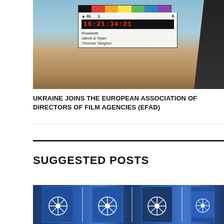[Figure (photo): A clapperboard being held up showing timecode 16:21:34:21, with text 'Roadside', 'Jakob & Ryan', 'Thomas Tangher', against a desert/sky background]
UKRAINE JOINS THE EUROPEAN ASSOCIATION OF DIRECTORS OF FILM AGENCIES (EFAD)
SUGGESTED POSTS
[Figure (photo): NATO flags or banners displayed side by side, showing NATO compass rose logo in blue and white]